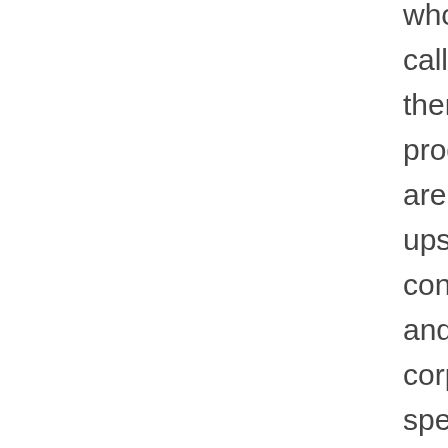whom now call themselves progressive are so upset about conservatives and corporations spending large amounts of money on political and issue-related ads that they no longer support Hugo Black's view of the First Amendment